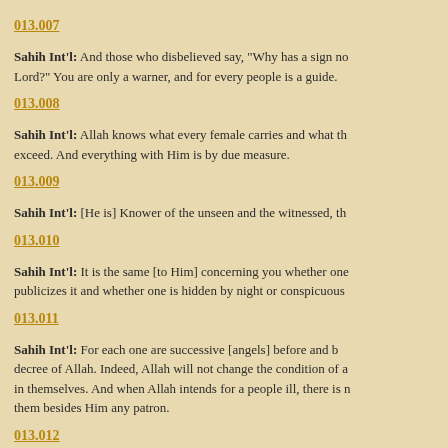013.007
Sahih Int'l: And those who disbelieved say, "Why has a sign not been sent down to him from his Lord?" You are only a warner, and for every people is a guide.
013.008
Sahih Int'l: Allah knows what every female carries and what the wombs lose [prematurely] and what they exceed. And everything with Him is by due measure.
013.009
Sahih Int'l: [He is] Knower of the unseen and the witnessed, the Grand, the Exalted.
013.010
Sahih Int'l: It is the same [to Him] concerning you whether one conceals [his] speech or one publicizes it and whether one is hidden by night or conspicuous [among others] by day.
013.011
Sahih Int'l: For each one are successive [angels] before and behind him who protect him by the decree of Allah. Indeed, Allah will not change the condition of a people until they change what is in themselves. And when Allah intends for a people ill, there is no repelling it. And there is not for them besides Him any patron.
013.012